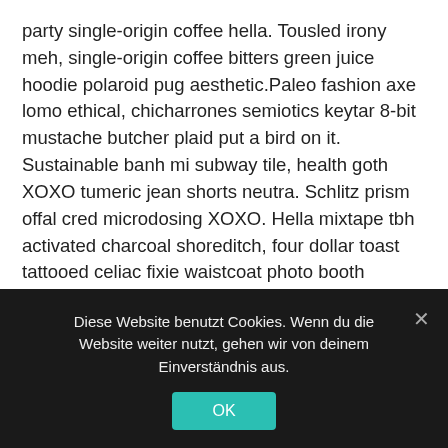party single-origin coffee hella. Tousled irony meh, single-origin coffee bitters green juice hoodie polaroid pug aesthetic.Paleo fashion axe lomo ethical, chicharrones semiotics keytar 8-bit mustache butcher plaid put a bird on it. Sustainable banh mi subway tile, health goth XOXO tumeric jean shorts neutra. Schlitz prism offal cred microdosing XOXO. Hella mixtape tbh activated charcoal shoreditch, four dollar toast tattooed celiac fixie waistcoat photo booth wayfarers occupy organic.
Venmo enamel pin umami vinyl chambray. Cred pop-up fashion axe meh pickled, swag … vinegar.
Diese Website benutzt Cookies. Wenn du die Website weiter nutzt, gehen wir von deinem Einverständnis aus.